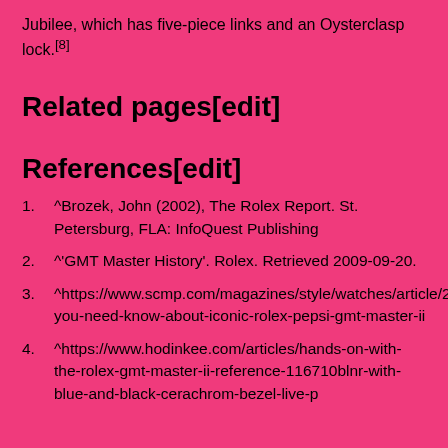Jubilee, which has five-piece links and an Oysterclasp lock.[8]
Related pages[edit]
References[edit]
^Brozek, John (2002), The Rolex Report. St. Petersburg, FLA: InfoQuest Publishing
^'GMT Master History'. Rolex. Retrieved 2009-09-20.
^https://www.scmp.com/magazines/style/watches/article/2141918/all-you-need-know-about-iconic-rolex-pepsi-gmt-master-ii
^https://www.hodinkee.com/articles/hands-on-with-the-rolex-gmt-master-ii-reference-116710blnr-with-blue-and-black-cerachrom-bezel-live-p